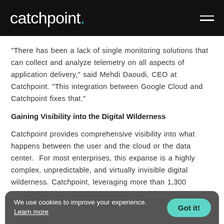catchpoint.
“There has been a lack of single monitoring solutions that can collect and analyze telemetry on all aspects of application delivery,” said Mehdi Daoudi, CEO at Catchpoint. “This integration between Google Cloud and Catchpoint fixes that.”
Gaining Visibility into the Digital Wilderness
Catchpoint provides comprehensive visibility into what happens between the user and the cloud or the data center.  For most enterprises, this expanse is a highly complex, unpredictable, and virtually invisible digital wilderness. Catchpoint, leveraging more than 1,300 …
We use cookies to improve your experience. Learn more
Got it!